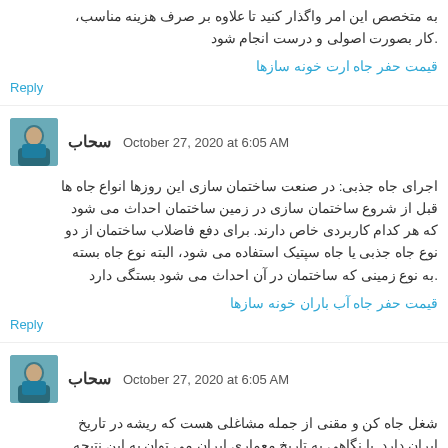به متخصص این امر واگذار کنید تا علاوه بر صرف هزینه مناسب، کار بصورت اصولی و درست انجام شود.
قیمت حفر جاه ارت خونه سازها
Reply
سحاب  October 27, 2020 at 6:05 AM
اجرای جاه جذبی: در صنعت ساختمان سازی این روزها انواع جاه ها قبل از شروع ساختمان سازی در زمین ساختمان احداث می شود که هر کدام کاربردی خاص دارند. برای دفع فاضلاب ساختمان از دو نوع جاه جذبی یا جاه سپتیک استفاده می شود، البته نوع جاه بسته به نوع زمینی که ساختمان در آن احداث می شود بستگی دارد.
قیمت حفر جاه آب باران خونه سازها
Reply
سحاب  October 27, 2020 at 6:05 AM
شغل جاه کن و مقنی از جمله مشاغلی هست که ریشه در تاریخ ایران دارد. با نگاهی به تاریخ معماری ایران می توان به این نتیجه رسید که حفر جاه عمیق و نیمه عمیق به دست مقنی و جاه کن...